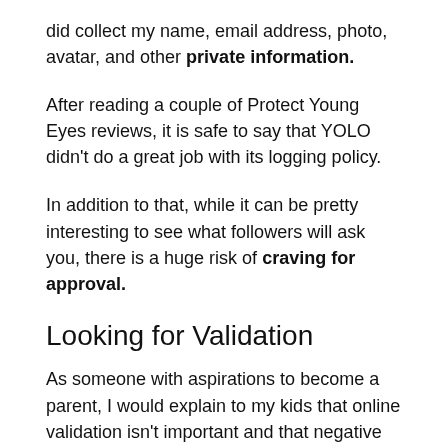did collect my name, email address, photo, avatar, and other private information.
After reading a couple of Protect Young Eyes reviews, it is safe to say that YOLO didn't do a great job with its logging policy.
In addition to that, while it can be pretty interesting to see what followers will ask you, there is a huge risk of craving for approval.
Looking for Validation
As someone with aspirations to become a parent, I would explain to my kids that online validation isn't important and that negative comments shouldn't bother them.
However, with that being said, online validation will be a big issue to